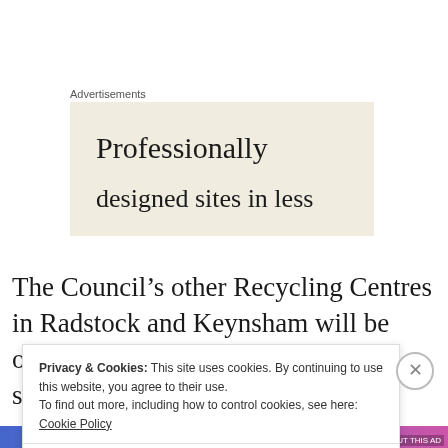Advertisements
[Figure (other): Advertisement banner with cream/beige background showing text 'Professionally designed sites in less']
The Council’s other Recycling Centres in Radstock and Keynsham will be open as usual during these two days should you wish to use
Privacy & Cookies: This site uses cookies. By continuing to use this website, you agree to their use.
To find out more, including how to control cookies, see here: Cookie Policy
Close and accept